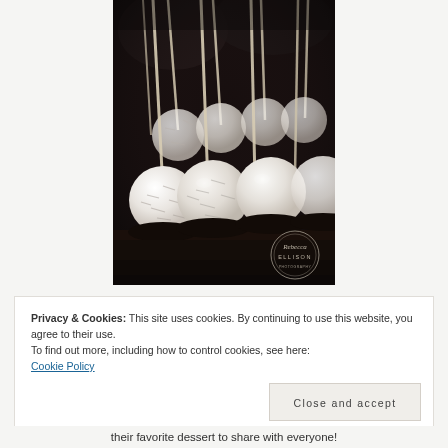[Figure (photo): Close-up photograph of white coconut-covered cake pops on sticks, arranged in a dark holder. The cake pops are white/cream colored with shredded coconut coating, on wooden sticks. A watermark reading 'Rebecca Ellison' appears in the bottom right corner of the photo.]
Privacy & Cookies: This site uses cookies. By continuing to use this website, you agree to their use.
To find out more, including how to control cookies, see here:
Cookie Policy
Close and accept
their favorite dessert to share with everyone!